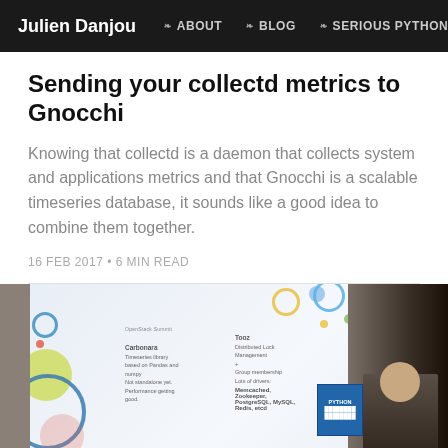Julien Danjou  ❧ ABOUT  ❧ BLOG  ❧ SERIOUS PYTHON
Sending your collectd metrics to Gnocchi
Knowing that collectd is a daemon that collects system and applications metrics and that Gnocchi is a scalable timeseries database, it sounds like a good idea to combine them together.
16 FEB 2017 • 6 MIN READ
[Figure (photo): Photo of a conference presentation slide showing a speaker in front of a projection screen. The slide contains text about 'Carbonara' (a timeseries library based on Pandas and numpy) and 'Tooz' (Distributed Lock Management, Group membership, Lots of drivers: Memcached, Zookeeper, PostgreSQL, MySQL, Redis, etcd). Colorful circles decorate the slide background. A 'PYTHON' banner is visible on the right.]